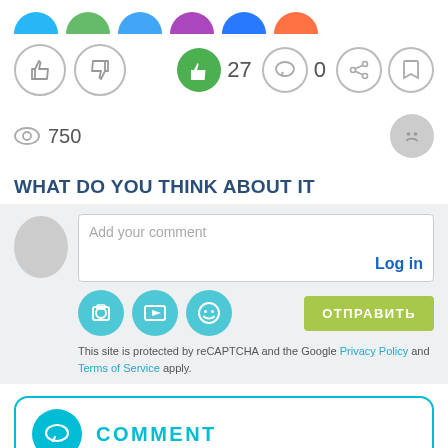[Figure (screenshot): Top partial colored circle icons (social share buttons) partially visible at top of page]
[Figure (screenshot): Like/dislike icon buttons row with thumbs up, thumbs down in circle borders; right side shows green thumbs up with count 27, comment bubble with 0, share icon, bookmark icon]
27
0
[Figure (screenshot): Eye icon with view count 750 and sad face icon on right]
750
WHAT DO YOU THINK ABOUT IT
[Figure (screenshot): Comment input area with avatar placeholder, text box with 'Add your comment' placeholder and 'Log in' link, camera/video/emoji teal icon buttons, green ОТПРАВИТЬ submit button, reCAPTCHA notice]
Add your comment
Log in
ОТПРАВИТЬ
This site is protected by reCAPTCHA and the Google Privacy Policy and Terms of Service apply.
[Figure (screenshot): COMMENT section header with teal chat bubble icon circle on left and COMMENT text in teal]